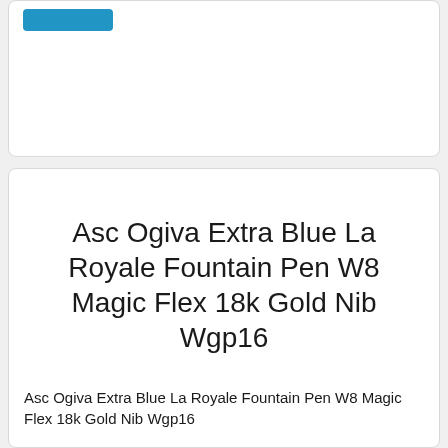[Figure (other): Top card with a blue button element, partially visible product listing card]
Asc Ogiva Extra Blue La Royale Fountain Pen W8 Magic Flex 18k Gold Nib Wgp16
Asc Ogiva Extra Blue La Royale Fountain Pen W8 Magic Flex 18k Gold Nib Wgp16